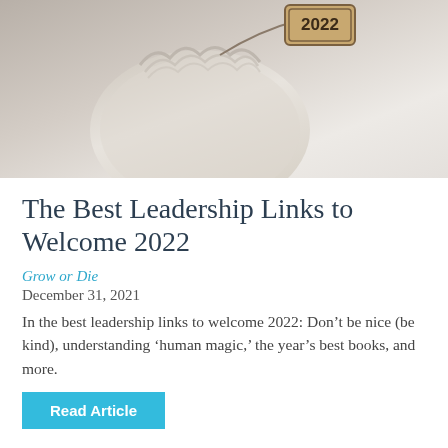[Figure (photo): A cloth bag with a wooden tag labeled '2022' hanging from it, on a light background.]
The Best Leadership Links to Welcome 2022
Grow or Die
December 31, 2021
In the best leadership links to welcome 2022: Don’t be nice (be kind), understanding ‘human magic,’ the year’s best books, and more.
Read Article